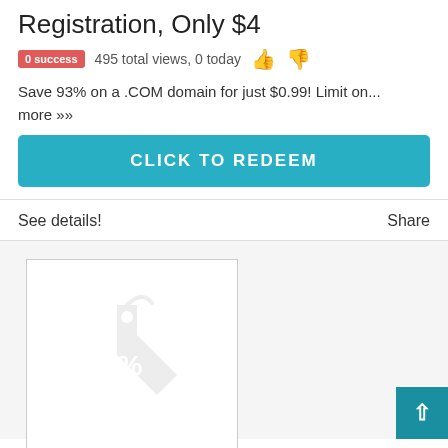Registration, Only $4
0 success  495 total views, 0 today 👍 👎
Save 93% on a .COM domain for just $0.99! Limit on... more ››
CLICK TO REDEEM
See details!
Share
[Figure (illustration): Placeholder image with a grey discount tag/percent icon]